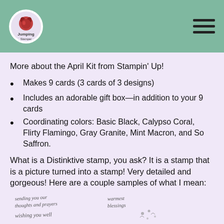Jumping Stamper logo and navigation header
More about the April Kit from Stampin' Up!
Makes 9 cards (3 cards of 3 designs)
Includes an adorable gift box—in addition to your 9 cards
Coordinating colors: Basic Black, Calypso Coral, Flirty Flamingo, Gray Granite, Mint Macron, and So Saffron.
What is a Distinktive stamp, you ask? It is a stamp that is a picture turned into a stamp! Very detailed and gorgeous! Here are a couple samples of what I mean:
[Figure (illustration): Partial view of stamp samples showing cursive text phrases like 'sending you our thoughts and prayers', 'warmest blessings', 'wishing you well' with small decorative butterfly/floral elements]